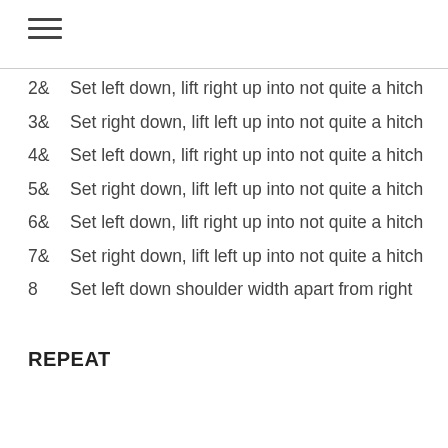≡
2&  Set left down, lift right up into not quite a hitch
3&  Set right down, lift left up into not quite a hitch
4&  Set left down, lift right up into not quite a hitch
5&  Set right down, lift left up into not quite a hitch
6&  Set left down, lift right up into not quite a hitch
7&  Set right down, lift left up into not quite a hitch
8    Set left down shoulder width apart from right
REPEAT